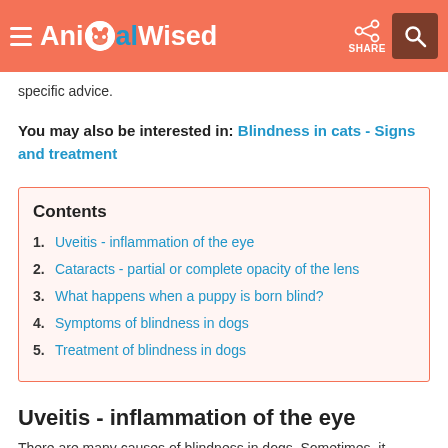AnimalWised
specific advice.
You may also be interested in: Blindness in cats - Signs and treatment
| Contents |
| --- |
| 1. Uveitis - inflammation of the eye |
| 2. Cataracts - partial or complete opacity of the lens |
| 3. What happens when a puppy is born blind? |
| 4. Symptoms of blindness in dogs |
| 5. Treatment of blindness in dogs |
Uveitis - inflammation of the eye
There are many causes of blindness in dogs. Sometimes, it